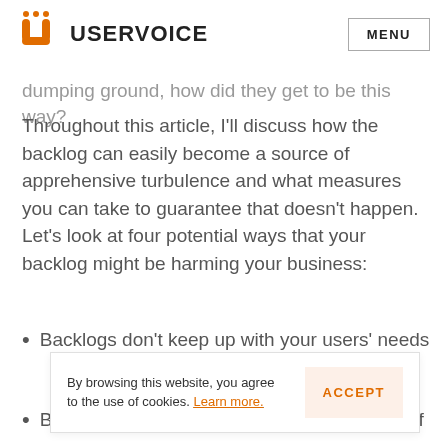USERVOICE | MENU
dumping ground, how did they get to be this way?
Throughout this article, I'll discuss how the backlog can easily become a source of apprehensive turbulence and what measures you can take to guarantee that doesn't happen. Let's look at four potential ways that your backlog might be harming your business:
Backlogs don't keep up with your users' needs
By browsing this website, you agree to the use of cookies. Learn more.
Backlogs stifle creativity and take your eye off